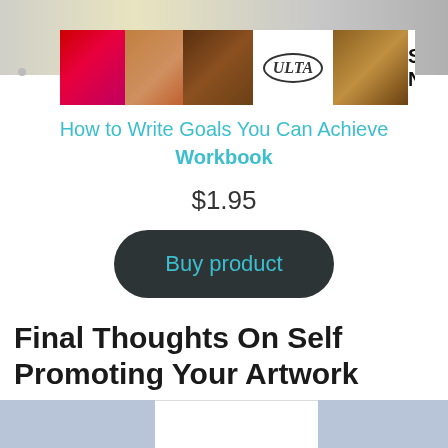[Figure (screenshot): Ulta Beauty advertisement banner with makeup images and SHOP NOW call to action]
How to Write Goals You Can Achieve Workbook
$1.95
[Figure (other): Dark rounded pill-shaped Buy product button with teal text]
Final Thoughts On Self Promoting Your Artwork
You now understand the import...of
[Figure (other): CLOSE button overlay with teal play icon, and bottom ad strip with blue-grey panels]